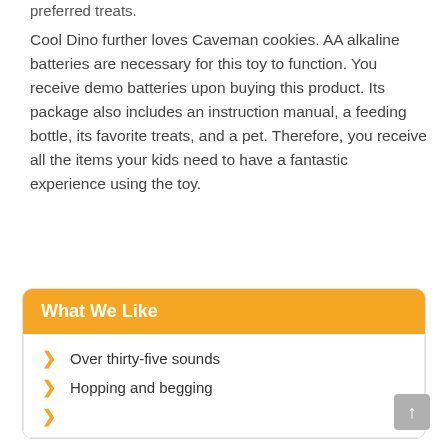preferred treats.
Cool Dino further loves Caveman cookies. AA alkaline batteries are necessary for this toy to function. You receive demo batteries upon buying this product. Its package also includes an instruction manual, a feeding bottle, its favorite treats, and a pet. Therefore, you receive all the items your kids need to have a fantastic experience using the toy.
What We Like
Over thirty-five sounds
Hopping and begging